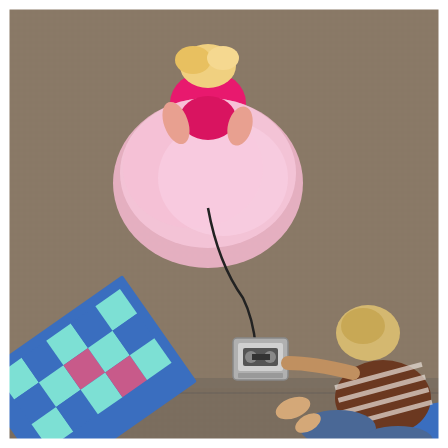[Figure (photo): Overhead/bird's eye view photograph of two children on a brown carpet floor. One child (upper area) is wearing a pink princess/ballet dress with a hot pink top and puffy pink tulle skirt, holding a wired microphone. A cord runs from the microphone down to a small cassette tape recorder/player sitting on the carpet. A second child (lower right) is wearing a brown and white striped long-sleeve shirt and jeans, sitting cross-legged and reaching toward the cassette player. In the lower left corner, a colorful patchwork quilt/blanket with blue, teal, and pink checker pattern is visible. The image appears to be divided into two overlapping photos or has a horizontal seam across the lower portion.]